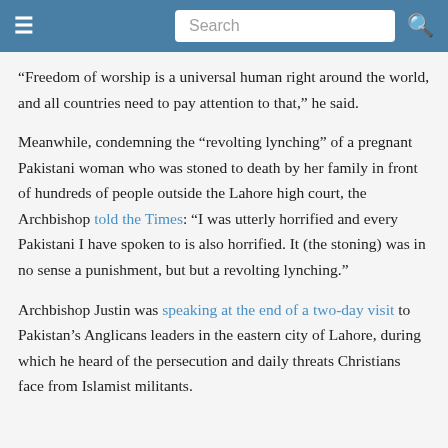Search
“Freedom of worship is a universal human right around the world, and all countries need to pay attention to that,” he said.
Meanwhile, condemning the “revolting lynching” of a pregnant Pakistani woman who was stoned to death by her family in front of hundreds of people outside the Lahore high court, the Archbishop told the Times: “I was utterly horrified and every Pakistani I have spoken to is also horrified. It (the stoning) was in no sense a punishment, but but a revolting lynching.”
Archbishop Justin was speaking at the end of a two-day visit to Pakistan’s Anglicans leaders in the eastern city of Lahore, during which he heard of the persecution and daily threats Christians face from Islamist militants.